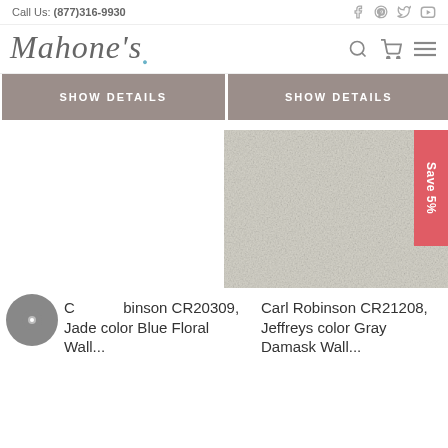Call Us: (877)316-9930
[Figure (logo): Mahone's script logo with search, cart, and menu icons]
SHOW DETAILS
SHOW DETAILS
[Figure (photo): Gray textured wallpaper sample with Save 5% badge in red]
Carl Robinson CR20309, Jade color Blue Floral Wall...
Carl Robinson CR21208, Jeffreys color Gray Damask Wall...